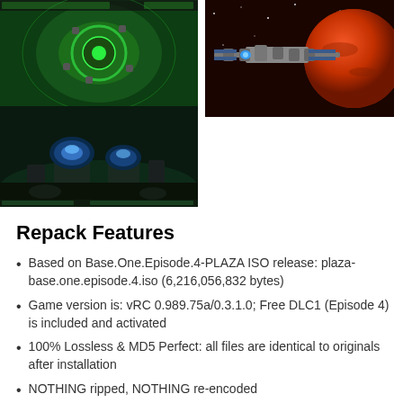[Figure (screenshot): Two game screenshots on the left (top: top-down sci-fi strategy view with green tones; bottom: 3D sci-fi base with blue glowing domes) and one screenshot on the right (space ships near a red planet)]
Repack Features
Based on Base.One.Episode.4-PLAZA ISO release: plaza-base.one.episode.4.iso (6,216,056,832 bytes)
Game version is: vRC 0.989.75a/0.3.1.0; Free DLC1 (Episode 4) is included and activated
100% Lossless & MD5 Perfect: all files are identical to originals after installation
NOTHING ripped, NOTHING re-encoded